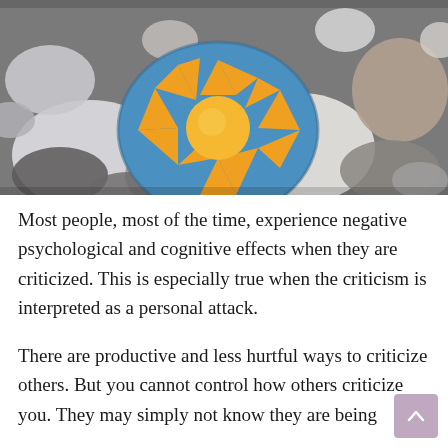[Figure (photo): Photograph of smooth river pebbles/rocks with one flat round stone painted with a bright sun design — yellow/orange sun with radiating rays on a blue background — surrounded by grey, white, and brown smooth stones.]
Most people, most of the time, experience negative psychological and cognitive effects when they are criticized. This is especially true when the criticism is interpreted as a personal attack.
There are productive and less hurtful ways to criticize others. But you cannot control how others criticize you. They may simply not know they are being